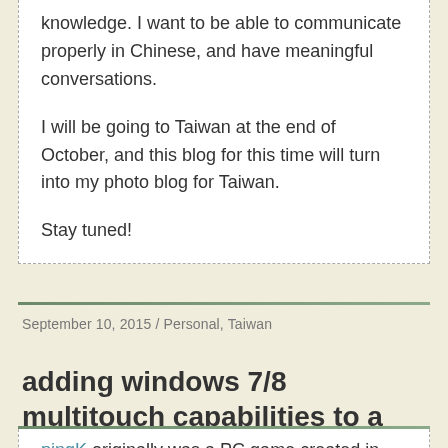knowledge. I want to be able to communicate properly in Chinese, and have meaningful conversations.

I will be going to Taiwan at the end of October, and this blog for this time will turn into my photo blog for Taiwan.

Stay tuned!
September 10, 2015 / Personal, Taiwan
adding windows 7/8 multitouch capabilities to a libgdx game
pingK originally was a PC game created in 2006